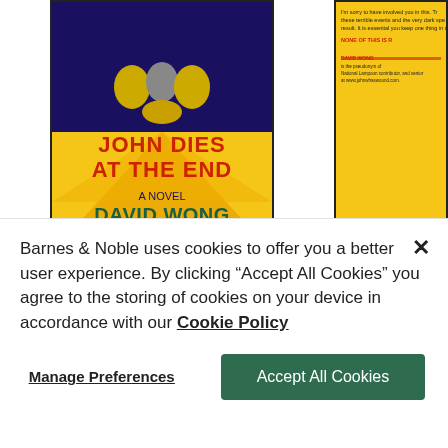[Figure (screenshot): Barnes & Noble website screenshot showing book covers for 'John Dies at the End' by David Wong. Left: front cover with yellow/blue design. Right: partial back cover. Pagination dots and Add to Wishlist button below.]
Add to Wishlist
View All Available Formats & Editions
Barnes & Noble uses cookies to offer you a better user experience. By clicking "Accept All Cookies" you agree to the storing of cookies on your device in accordance with our Cookie Policy
Manage Preferences
Accept All Cookies